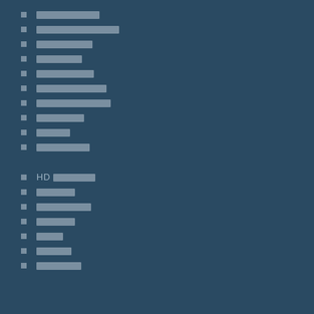[redacted]
[redacted]
[redacted]
[redacted]
[redacted]
[redacted]
[redacted]
[redacted]
[redacted]
[redacted]
HD [redacted]
[redacted]
[redacted]
[redacted]
[redacted]
[redacted]
[redacted]